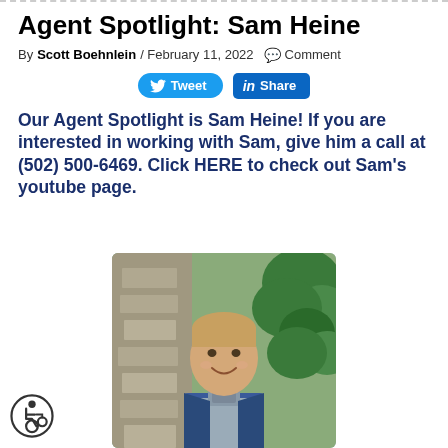Agent Spotlight: Sam Heine
By Scott Boehnlein / February 11, 2022 Comment
[Figure (other): Tweet and LinkedIn Share social buttons]
Our Agent Spotlight is Sam Heine! If you are interested in working with Sam, give him a call at (502) 500-6469. Click HERE to check out Sam's youtube page.
[Figure (photo): Portrait photo of Sam Heine, a young man smiling, wearing a blue vest, standing in front of stone columns with greenery in the background]